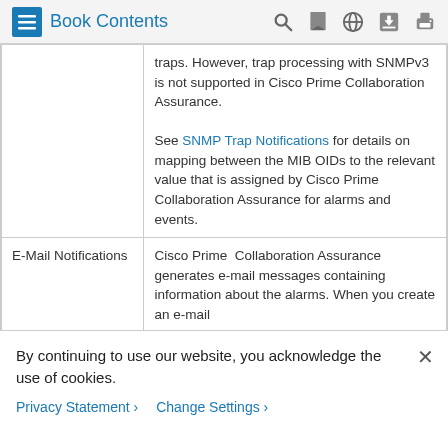Book Contents
|  | traps. However, trap processing with SNMPv3 is not supported in Cisco Prime Collaboration Assurance.

See SNMP Trap Notifications for details on mapping between the MIB OIDs to the relevant value that is assigned by Cisco Prime Collaboration Assurance for alarms and events. |
| E-Mail Notifications | Cisco Prime  Collaboration Assurance generates e-mail messages containing information about the alarms. When you create an e-mail |
By continuing to use our website, you acknowledge the use of cookies.
Privacy Statement > Change Settings >